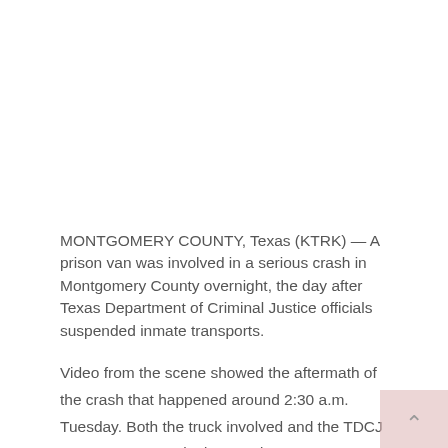MONTGOMERY COUNTY, Texas (KTRK) — A prison van was involved in a serious crash in Montgomery County overnight, the day after Texas Department of Criminal Justice officials suspended inmate transports.
Video from the scene showed the aftermath of the crash that happened around 2:30 a.m. Tuesday. Both the truck involved and the TDCJ van were extremely damaged.
Investigators said the driver of the red truck spun out on the northbound lanes of I-45, approaching Willis near FM-1097